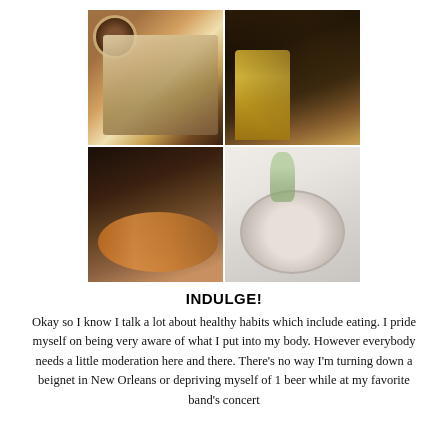[Figure (photo): 2x2 grid of four photos: top-left shows coffee cup and beignet on paper wrapping; top-right shows a Leinenkugel's Summer Shandy beer can with a crowded concert venue behind it; bottom-left shows a plate of food with fries and burger at a restaurant; bottom-right shows a pizza on a white table with flowers.]
INDULGE!
Okay so I know I talk a lot about healthy habits which include eating. I pride myself on being very aware of what I put into my body. However everybody needs a little moderation here and there. There's no way I'm turning down a beignet in New Orleans or depriving myself of 1 beer while at my favorite band's concert